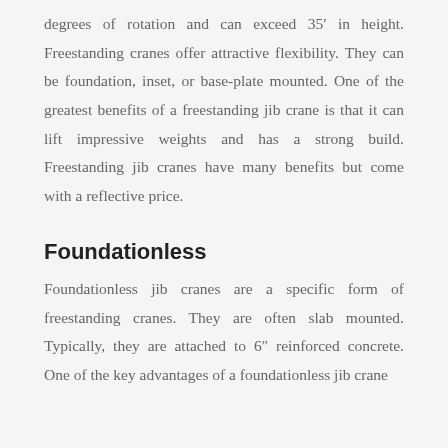degrees of rotation and can exceed 35′ in height. Freestanding cranes offer attractive flexibility. They can be foundation, inset, or base-plate mounted. One of the greatest benefits of a freestanding jib crane is that it can lift impressive weights and has a strong build. Freestanding jib cranes have many benefits but come with a reflective price.
Foundationless
Foundationless jib cranes are a specific form of freestanding cranes. They are often slab mounted. Typically, they are attached to 6″ reinforced concrete. One of the key advantages of a foundationless jib crane